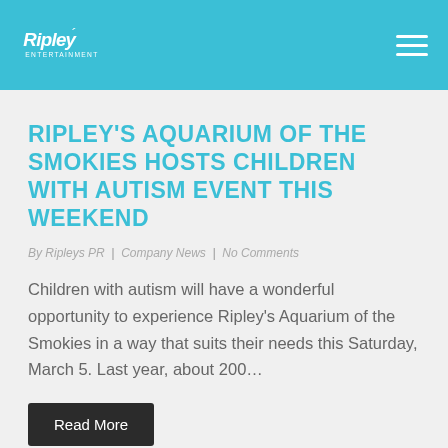Ripley's Aquarium – Navigation Header
RIPLEY'S AQUARIUM OF THE SMOKIES HOSTS CHILDREN WITH AUTISM EVENT THIS WEEKEND
By Ripleys PR | Company News | No Comments
Children with autism will have a wonderful opportunity to experience Ripley's Aquarium of the Smokies in a way that suits their needs this Saturday, March 5. Last year, about 200...
Read More